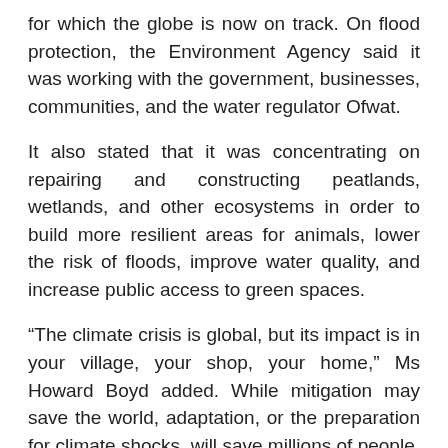for which the globe is now on track. On flood protection, the Environment Agency said it was working with the government, businesses, communities, and the water regulator Ofwat.
It also stated that it was concentrating on repairing and constructing peatlands, wetlands, and other ecosystems in order to build more resilient areas for animals, lower the risk of floods, improve water quality, and increase public access to green spaces.
“The climate crisis is global, but its impact is in your village, your shop, your home,” Ms Howard Boyd added. While mitigation may save the world, adaptation, or the preparation for climate shocks, will save millions of people. Despite the government’s focus on adaptation at COP26, she claimed, the issue risked being “grievously undercooked” during the conference.
“It is adapt or die. With the right approach, we can be safer and more prosperous. So let’s prepare, act and survive,” she stated.